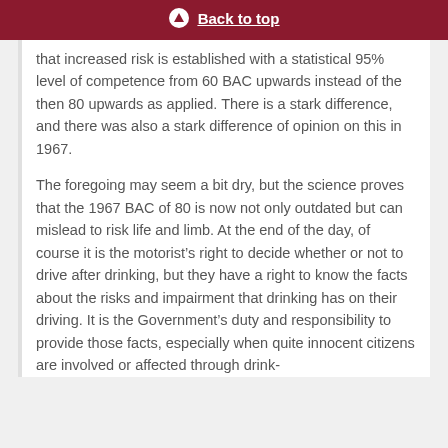Back to top
that increased risk is established with a statistical 95% level of competence from 60 BAC upwards instead of the then 80 upwards as applied. There is a stark difference, and there was also a stark difference of opinion on this in 1967.
The foregoing may seem a bit dry, but the science proves that the 1967 BAC of 80 is now not only outdated but can mislead to risk life and limb. At the end of the day, of course it is the motorist’s right to decide whether or not to drive after drinking, but they have a right to know the facts about the risks and impairment that drinking has on their driving. It is the Government’s duty and responsibility to provide those facts, especially when quite innocent citizens are involved or affected through drink-